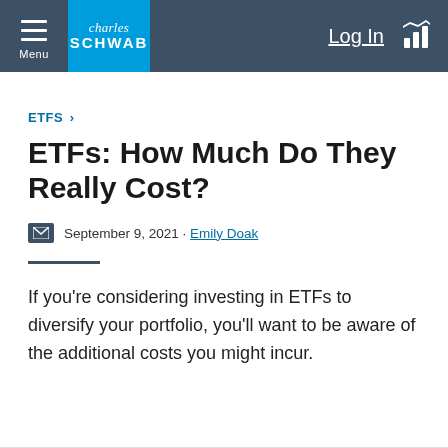Menu | charles SCHWAB | Log In
ETFS >
ETFs: How Much Do They Really Cost?
September 9, 2021 · Emily Doak
If you're considering investing in ETFs to diversify your portfolio, you'll want to be aware of the additional costs you might incur.